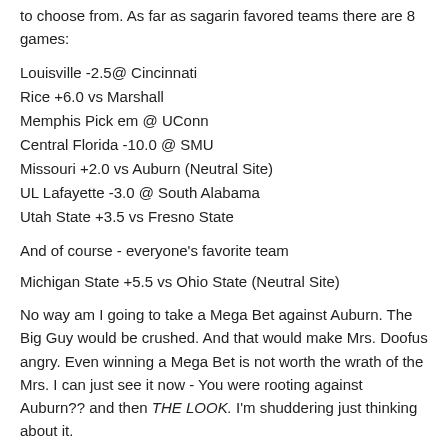to choose from. As far as sagarin favored teams there are 8 games:
Louisville -2.5@ Cincinnati
Rice +6.0 vs Marshall
Memphis Pick em @ UConn
Central Florida -10.0 @ SMU
Missouri +2.0 vs Auburn (Neutral Site)
UL Lafayette -3.0 @ South Alabama
Utah State +3.5 vs Fresno State
And of course - everyone's favorite team
Michigan State +5.5 vs Ohio State (Neutral Site)
No way am I going to take a Mega Bet against Auburn. The Big Guy would be crushed. And that would make Mrs. Doofus angry. Even winning a Mega Bet is not worth the wrath of the Mrs. I can just see it now - You were rooting against Auburn?? and then THE LOOK. I'm shuddering just thinking about it.